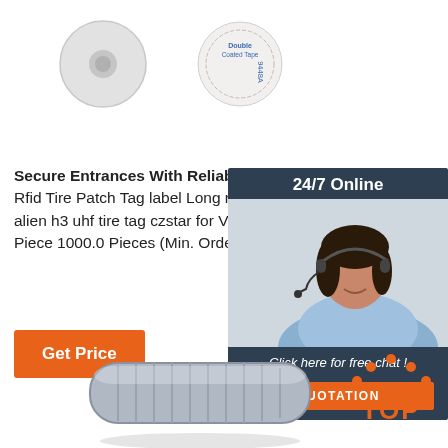[Figure (photo): Two RFID tag products: a white disc-shaped tag and a double-sided adhesive sticker tag]
Secure Entrances With Reliable Alien H3 Rfid Tag - Rfid Tire Patch Tag label Long range surface adhesive alien h3 uhf tire tag czstar for Vehicle Access Control Piece 1000.0 Pieces (Min. Order)
[Figure (photo): Customer service representative with headset, sidebar showing 24/7 Online, Click here for free chat!, QUOTATION button]
[Figure (photo): Orange Get Price button]
[Figure (photo): Gray RFID tire band/wristband product at bottom of page]
[Figure (logo): TOP button with orange dots arranged in arc shape]